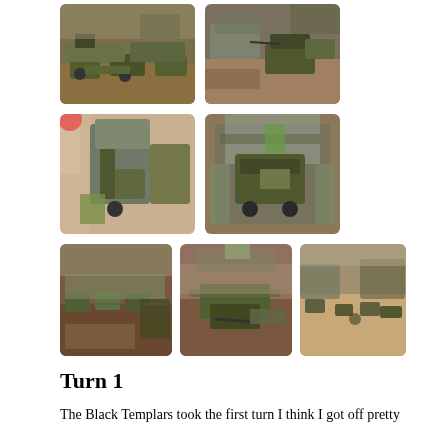[Figure (photo): Row 1, photo 1: Overhead view of painted miniature soldiers and tanks on a wargaming table with terrain]
[Figure (photo): Row 1, photo 2: Painted tanks on a wargaming table with urban terrain and structures]
[Figure (photo): Row 2, photo 1: Wargaming miniatures including large mech/walker unit beside ruined building, seen from side]
[Figure (photo): Row 2, photo 2: Large armored vehicle inside ruined building terrain, overhead angle]
[Figure (photo): Row 3, photo 1: Multiple tanks lined up in urban battle terrain, top-down view]
[Figure (photo): Row 3, photo 2: Artillery piece and tanks on battlefield terrain]
[Figure (photo): Row 3, photo 3: Overhead view of open battlefield with scattered vehicles and terrain pieces]
Turn 1
The Black Templars took the first turn I think I got off pretty